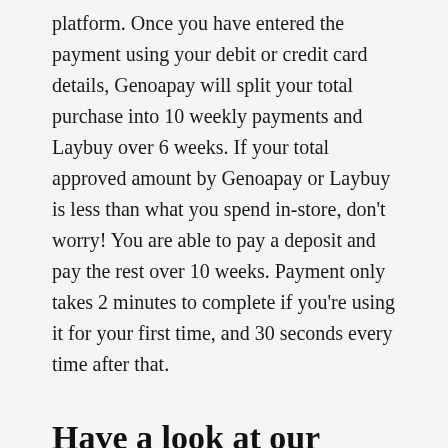platform. Once you have entered the payment using your debit or credit card details, Genoapay will split your total purchase into 10 weekly payments and Laybuy over 6 weeks. If your total approved amount by Genoapay or Laybuy is less than what you spend in-store, don't worry! You are able to pay a deposit and pay the rest over 10 weeks. Payment only takes 2 minutes to complete if you're using it for your first time, and 30 seconds every time after that.
Have a look at our promotions and hot deals top get the best value on our high-quality services with